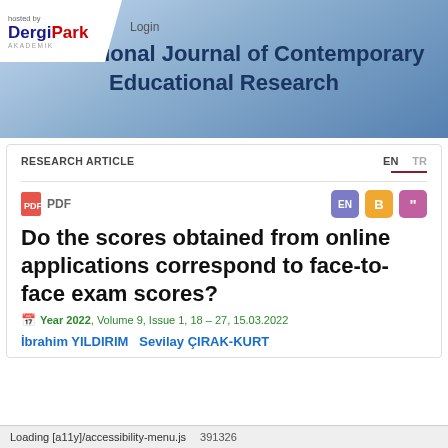hosted by DergiPark AKADEMIK | Login
International Journal of Contemporary Educational Research
RESEARCH ARTICLE
PDF
Do the scores obtained from online applications correspond to face-to-face exam scores?
Year 2022, Volume 9, Issue 1, 18 – 27, 15.03.2022
İbrahim YILDIRIM  Sevilay ÇIRAK-KURT
Loading [a11y]/accessibility-menu.js  391326